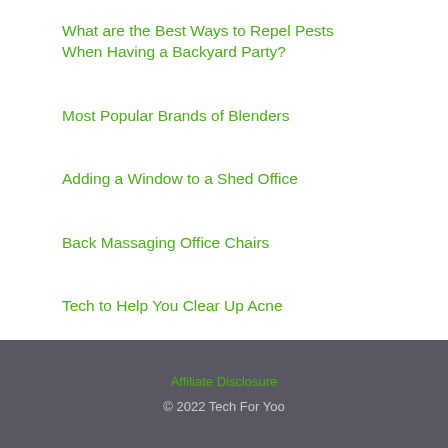What are the Best Ways to Repel Pests When Having a Backyard Party?
Most Popular Brands of Blenders
Adding a Window to a Shed Office
Back Massaging Office Chairs
Tech to Help You Clear Up Acne
Affiliate Disclosure
© 2022 Tech For Yoo